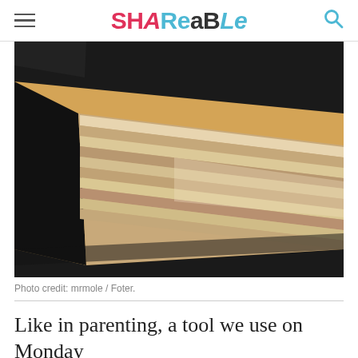SHAReaBLe
[Figure (photo): Close-up photograph of a thick black notebook lying on a wooden surface, showing the spine and pages from the side. The pages appear well-worn and slightly curved.]
Photo credit: mrmole / Foter.
Like in parenting, a tool we use on Monday